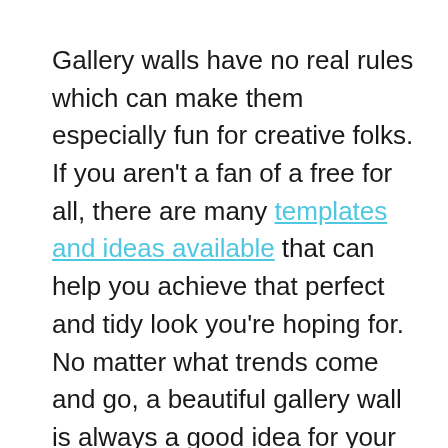Gallery walls have no real rules which can make them especially fun for creative folks. If you aren't a fan of a free for all, there are many templates and ideas available that can help you achieve that perfect and tidy look you're hoping for. No matter what trends come and go, a beautiful gallery wall is always a good idea for your home.